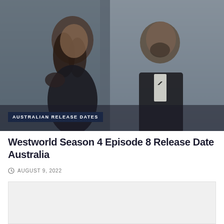[Figure (photo): Two people in formal attire — a woman with curly hair in a dark dress and a man with a beard in a tuxedo with bow tie — in a muted blue-grey cinematic scene from Westworld Season 4.]
AUSTRALIAN RELEASE DATES
Westworld Season 4 Episode 8 Release Date Australia
AUGUST 9, 2022